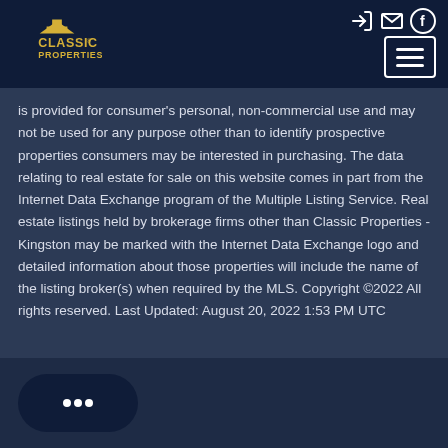[Figure (logo): Classic Properties logo in yellow on dark navy background, with navigation icons (login, email, Facebook) and hamburger menu button in top-right]
is provided for consumer's personal, non-commercial use and may not be used for any purpose other than to identify prospective properties consumers may be interested in purchasing. The data relating to real estate for sale on this website comes in part from the Internet Data Exchange program of the Multiple Listing Service. Real estate listings held by brokerage firms other than Classic Properties - Kingston may be marked with the Internet Data Exchange logo and detailed information about those properties will include the name of the listing broker(s) when required by the MLS. Copyright ©2022 All rights reserved. Last Updated: August 20, 2022 1:53 PM UTC
[Figure (other): Chat button widget with speech bubble icon showing three dots, rounded pill shape in dark navy blue]